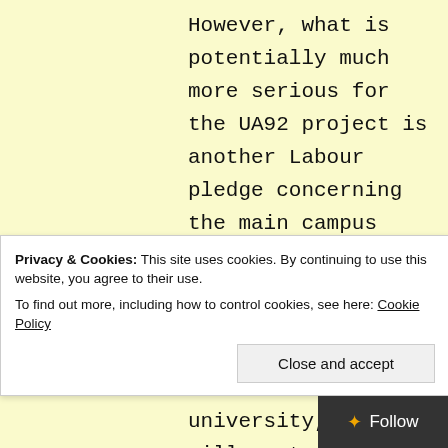However, what is potentially much more serious for the UA92 project is another Labour pledge concerning the main campus site in central Stretford. Although Labour supports the principle of establishing a university, they will want to ensure that it will be of benefit to all local young people,
Privacy & Cookies: This site uses cookies. By continuing to use this website, you agree to their use. To find out more, including how to control cookies, see here: Cookie Policy
Close and accept
Follow